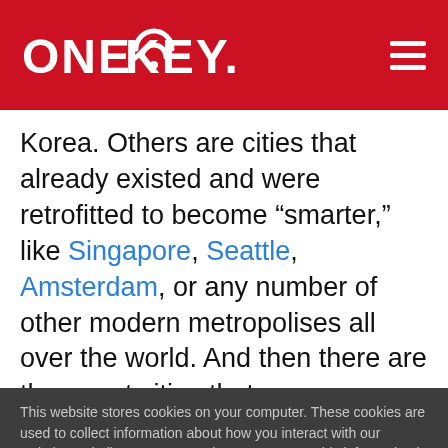ONE KEY. [logo]
Korea. Others are cities that already existed and were retrofitted to become “smarter,” like Singapore, Seattle, Amsterdam, or any number of other modern metropolises all over the world. And then there are the smart cities that
This website stores cookies on your computer. These cookies are used to collect information about how you interact with our website and allow us to remember you. We use this information in order to improve and customize your browsing experience and for analytics and metrics about our visitors both on this website and other media. To find out more about the cookies we use, see our Privacy Policy
If you decline, your information won’t be tracked when you visit this website. A single cookie will be used in your browser to remember your preference not to be tracked.
Accept
Decline